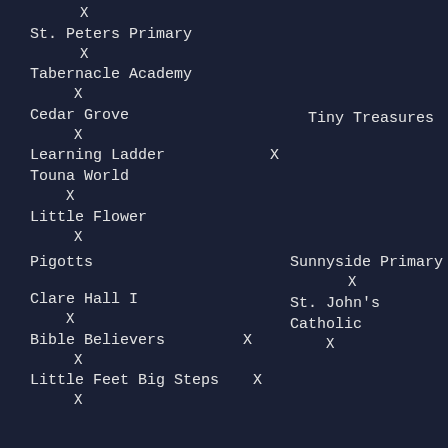X
St. Peters Primary
X
Tabernacle Academy
X
Cedar Grove / Tiny Treasures
X
Learning Ladder   X
Touna World
X
Little Flower
X
Pigotts / Sunnyside Primary
X
Clare Hall I / St. John's Catholic
X / X
Bible Believers   X
X
Little Feet Big Steps   X
X